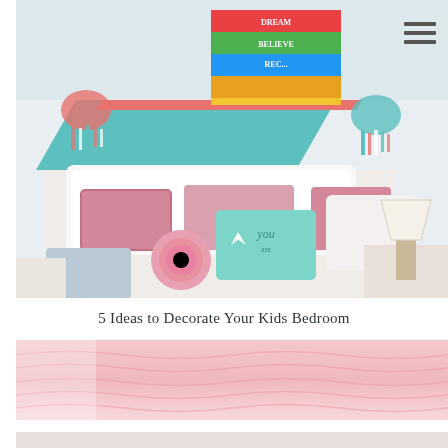[Figure (photo): A colorful kids bedroom with a white tufted headboard, multiple decorative pillows in pink, mint, and white, colorful diagonal stripe wall art in coral and teal, tassel decorations, and a bedside lamp]
[Figure (other): Hamburger/navigation menu icon with three horizontal dark gray lines on white background, positioned top right]
5 Ideas to Decorate Your Kids Bedroom
[Figure (photo): Close-up of pink ruffled/textured bedding/duvet against a white background]
[Figure (photo): Blurred photo of a person holding a paintbrush, with a reddish-brown object in the foreground and white items in the background]